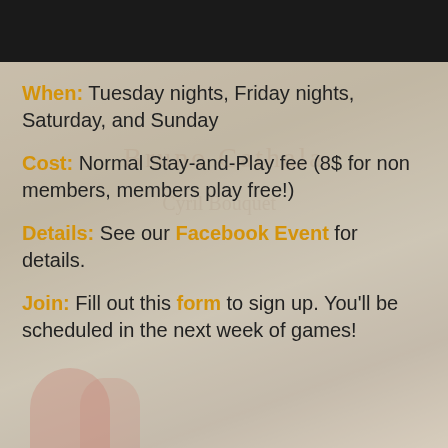[Figure (photo): Background photo of board games and playing cards, blurred. Dark bar at top.]
When: Tuesday nights, Friday nights, Saturday, and Sunday
Cost: Normal Stay-and-Play fee (8$ for non members, members play free!)
Details: See our Facebook Event for details.
Join: Fill out this form to sign up. You'll be scheduled in the next week of games!